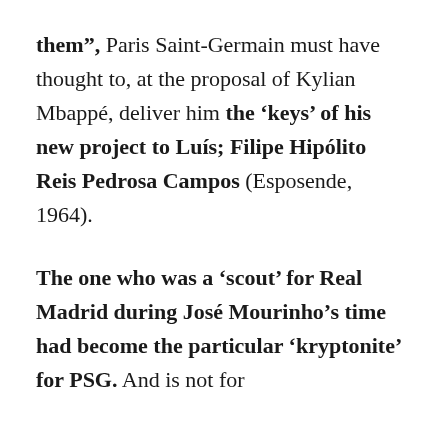them”, Paris Saint-Germain must have thought to, at the proposal of Kylian Mbappé, deliver him the ‘keys’ of his new project to Luís Filipe Hipólito Reis Pedrosa Campos (Esposende, 1964).
The one who was a ‘scout’ for Real Madrid during José Mourinho’s time had become the particular ‘kryptonite’ for PSG. And is not for